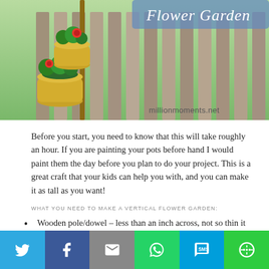[Figure (photo): Photo of stacked yellow flower pots on a wooden fence with red flowers, with text 'Flower Garden' and watermark 'millionmoments.net']
Before you start, you need to know that this will take roughly an hour. If you are painting your pots before hand I would paint them the day before you plan to do your project. This is a great craft that your kids can help you with, and you can make it as tall as you want!
WHAT YOU NEED TO MAKE A VERTICAL FLOWER GARDEN:
Wooden pole/dowel – less than an inch across, not so thin it snaps from the weight of your pots. I got mine at Lowe's.
[Figure (infographic): Social sharing bar with Twitter, Facebook, Email, WhatsApp, SMS, and More buttons]